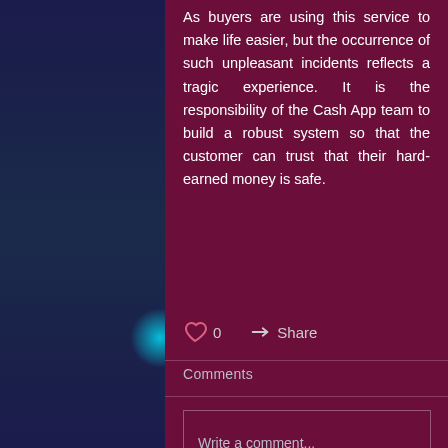As buyers are using this service to make life easier, but the occurrence of such unpleasant incidents reflects a tragic experience. It is the responsibility of the Cash App team to build a robust system so that the customer can trust that their hard-earned money is safe.
[Figure (infographic): Like (heart) icon with count '0' and Share icon with label 'Share']
Comments
Write a comment...
Similar Posts